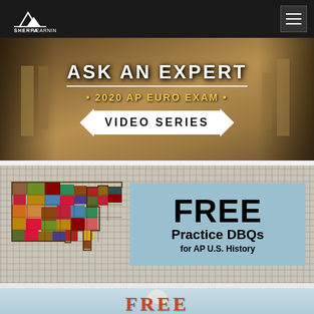[Figure (screenshot): Sherpa Learning website navigation bar with logo on left and hamburger menu on right, dark background]
[Figure (screenshot): Banner image showing Roman Forum ruins background with text 'ASK AN EXPERT • 2020 AP EURO EXAM • VIDEO SERIES' in ribbon style]
[Figure (screenshot): Banner showing burlap texture background with colorful patchwork quilt USA map on left and light blue box on right reading 'FREE Practice DBQs for AP U.S. History']
[Figure (screenshot): Partially visible bottom banner with light blue background and partial 'FREE' text in orange-red serif font]